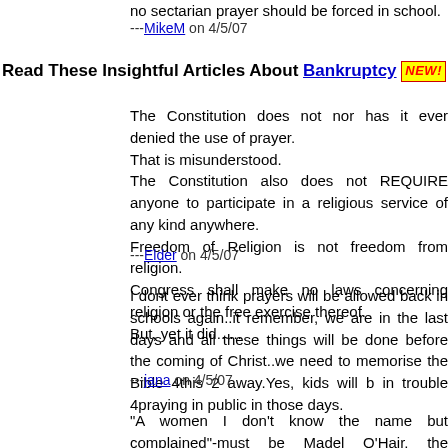no sectarian prayer should be forced in school.
---MikeM on 4/5/07
Read These Insightful Articles About Bankruptcy NEW!
The Constitution does not nor has it ever denied the use of prayer. That is misunderstood.
The Constitution also does not REQUIRE anyone to participate in a religious service of any kind anywhere.
Freedom of Religion is not freedom from religion.
Congress shall make no laws concerning religion or the free exercise thereof.
But, yet it did......
---Elder on 4/5/07
I dont ever think prayers will be allowed back in schools again..it seems, remember, we are in the last days and all these things will be done away before the coming of Christ..we need to memorise the Bible 4this 2 come away.Yes, kids will b in trouble 4praying in public in those days.
---jana on 4/5/07
"A women I don't know the name but complained"-must be Madeleine O'Hair, the dogmatic atheist appealed her case to the Supreme Court. I know of no law against prayer in school, any student can pray. There can be no 'organized prayer.' The constitution, 'establishment clause' governs the matter.